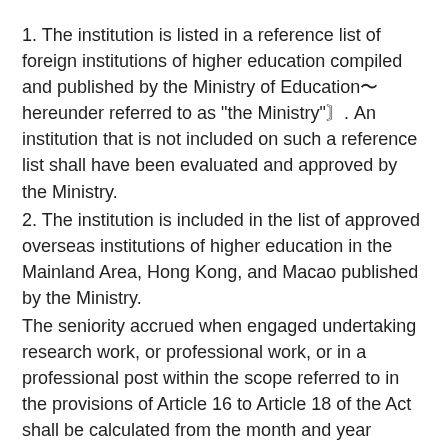1. The institution is listed in a reference list of foreign institutions of higher education compiled and published by the Ministry of Education〜hereunder referred to as “the Ministry〝. An institution that is not included on such a reference list shall have been evaluated and approved by the Ministry.
2. The institution is included in the list of approved overseas institutions of higher education in the Mainland Area, Hong Kong, and Macao published by the Ministry.
The seniority accrued when engaged undertaking research work, or professional work, or in a professional post within the scope referred to in the provisions of Article 16 to Article 18 of the Act shall be calculated from the month and year recorded on an official certificate of service approved and issued by the organization〜agency〝, and the person’s experience there shall be verified by the institution in accordance with the relevant provisions of the Enforcement Rules of the Act.
Article 4